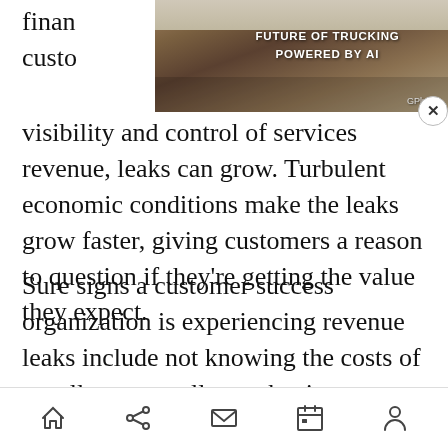[Figure (other): Advertisement banner: 'FUTURE OF TRUCKING POWERED BY AI' with rocky landscape background and truck silhouette, GPlusAI branding, close button (X)]
visibility and control of services revenue, leaks can grow. Turbulent economic conditions make the leaks grow faster, giving customers a reason to question if they're getting the value they expect.
Sure signs a customer success organization is experiencing revenue leaks include not knowing the costs of upsells, cross-sells, not having a financially based view of every customer engagement, growing churn rates and more. The costs of not getting cross-sells and upsells right – or worse, missing a commitment to a customer – all eventually roll up into financials and the